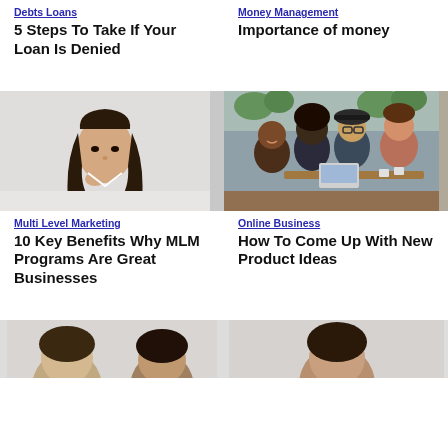Debts Loans
5 Steps To Take If Your Loan Is Denied
Money Management
Importance of money
[Figure (photo): Young Asian woman with long wavy hair, hand near chin, looking thoughtful, white background]
Multi Level Marketing
10 Key Benefits Why MLM Programs Are Great Businesses
[Figure (photo): Group of four diverse young adults sitting together at a table, smiling and looking at a laptop, cafe setting with plants in background]
Online Business
How To Come Up With New Product Ideas
[Figure (photo): Partial view of people at bottom of page, cropped]
[Figure (photo): Partial view of person at bottom right of page, cropped]